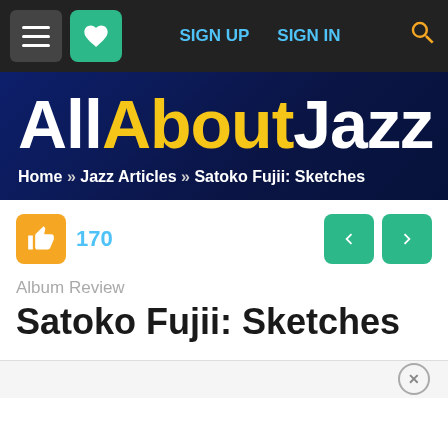Navigation bar with menu, favorites, SIGN UP, SIGN IN, and search
[Figure (logo): All About Jazz logo on dark navy blue banner background]
Home » Jazz Articles » Satoko Fujii: Sketches
170 likes
Album Review
Satoko Fujii: Sketches